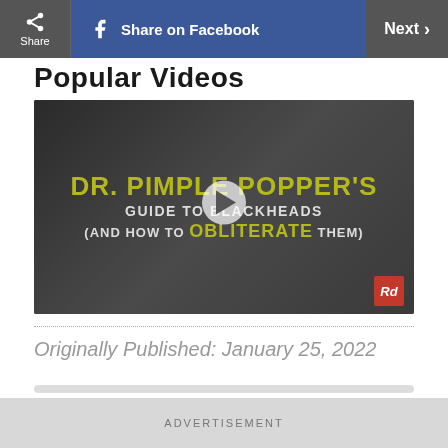Share | Share on Facebook | Next
Popular Videos
[Figure (screenshot): Video thumbnail for 'Dr. Pimple Popper's Guide to Blackheads (And How to Obliterate Them)' with a play button overlay and Rd badge in bottom right corner.]
Originally Published: January 25, 2022
ADVERTISEMENT